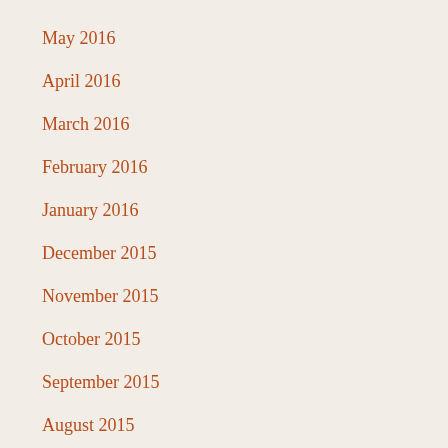May 2016
April 2016
March 2016
February 2016
January 2016
December 2015
November 2015
October 2015
September 2015
August 2015
July 2015
June 2015
April 2015
March 2015